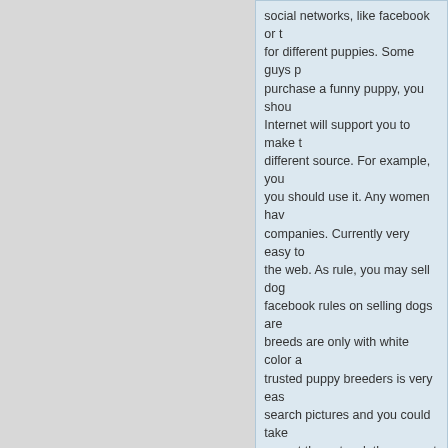social networks, like facebook or t... for different puppies. Some guys p... purchase a funny puppy, you shou... Internet will support you to make t... different source. For example, you... you should use it. Any women hav... companies. Currently very easy to... the web. As rule, you may sell dog... facebook rules on selling dogs are... breeds are only with white color a... trusted puppy breeders is very eas... search pictures and you could take... now at the network there are at a s... you desire to buy an aggressive d... nature, it is also feasible!
Pošlji verz | Glasuj za verz | 0 glas...
cash loans for bad credit online pa... bad credit
Pošlji verz | Glasuj za verz | 0 glas...
quick loans online payday loan di... http://loansonline2018.com/ payda... bad credit http://onlineloans2018.... instant approval bad credit mone... cash advance usa instant payda...